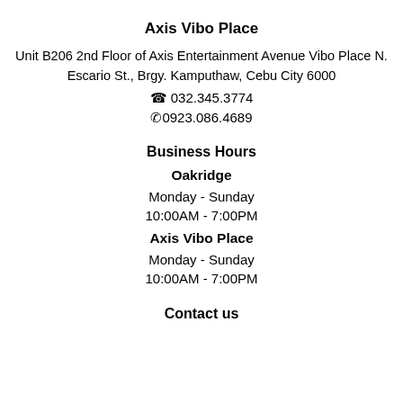Axis Vibo Place
Unit B206 2nd Floor of Axis Entertainment Avenue Vibo Place N. Escario St., Brgy. Kamputhaw, Cebu City 6000
☎ 032.345.3774
✆0923.086.4689
Business Hours
Oakridge
Monday - Sunday
10:00AM - 7:00PM
Axis Vibo Place
Monday - Sunday
10:00AM - 7:00PM
Contact us